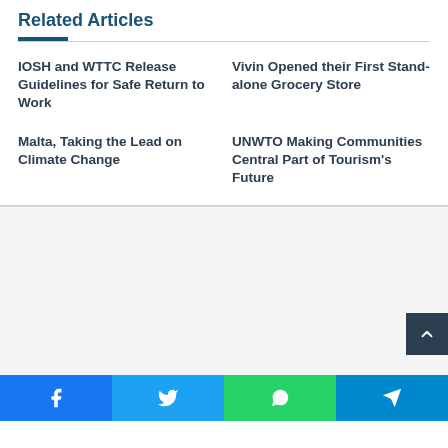Related Articles
IOSH and WTTC Release Guidelines for Safe Return to Work
Vivin Opened their First Stand-alone Grocery Store
Malta, Taking the Lead on Climate Change
UNWTO Making Communities Central Part of Tourism's Future
[Figure (other): Light grey background section below article links]
[Figure (other): Social share bar with Facebook, Twitter, WhatsApp, and Telegram buttons]